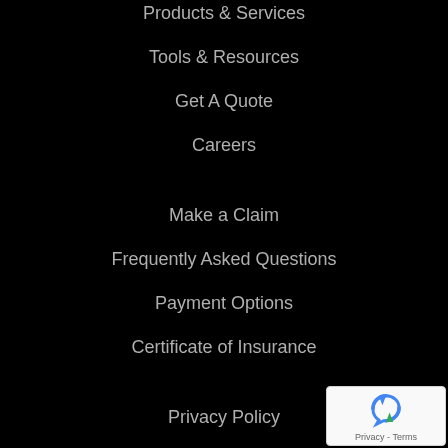Products & Services
Tools & Resources
Get A Quote
Careers
Make a Claim
Frequently Asked Questions
Payment Options
Certificate of Insurance
Privacy Policy
Terms of Use
Feedback
Contact Us
Accessibility
[Figure (logo): reCAPTCHA badge showing rotating arrows logo with Privacy - Terms text]